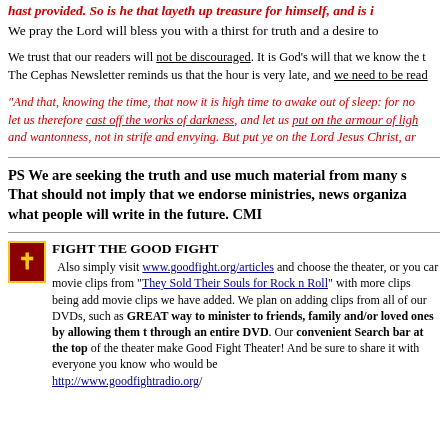hast provided. So is he that layeth up treasure for himself, and is not rich toward God.
We pray the Lord will bless you with a thirst for truth and a desire to
We trust that our readers will not be discouraged. It is God's will that we know the truth. The Cephas Newsletter reminds us that the hour is very late, and we need to be ready
"And that, knowing the time, that now it is high time to awake out of sleep: for now is our salvation nearer than when we believed. let us therefore cast off the works of darkness, and let us put on the armour of light. and wantonness, not in strife and envying. But put ye on the Lord Jesus Christ, and
PS We are seeking the truth and use much material from many sources. That should not imply that we endorse ministries, news organizations, or what people will write in the future. CMI
FIGHT THE GOOD FIGHT Also simply visit www.goodfight.org/articles and choose the theater, or you can watch movie clips from "They Sold Their Souls for Rock n Roll" with more clips being added. movie clips we have added. We plan on adding clips from all of our DVDs, such as GREAT way to minister to friends, family and/or loved ones by allowing them to through an entire DVD. Our convenient Search bar at the top of the theater makes Good Fight Theater! And be sure to share it with everyone you know who would benefit http://www.goodfightradio.org/